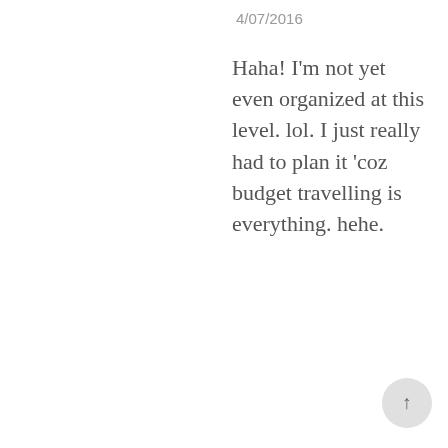4/07/2016
Haha! I'm not yet even organized at this level. lol. I just really had to plan it 'coz budget travelling is everything. hehe.
Reply
Anonymous
4/07/2016
I wish I went travelling back when I